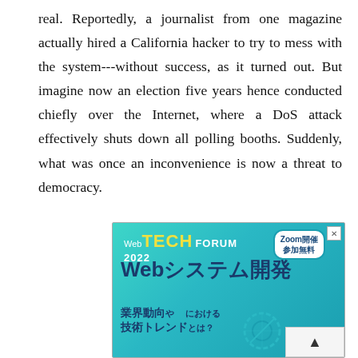real. Reportedly, a journalist from one magazine actually hired a California hacker to try to mess with the system---without success, as it turned out. But imagine now an election five years hence conducted chiefly over the Internet, where a DoS attack effectively shuts down all polling booths. Suddenly, what was once an inconvenience is now a threat to democracy.
[Figure (other): Advertisement banner for Web TECH FORUM 2022, promoting a web system development event about industry trends and technology trends, held via Zoom, free to attend. Text in Japanese: Webシステム開発における業界動向や技術トレンドとは？]